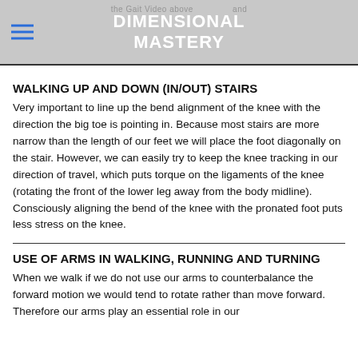DIMENSIONAL MASTERY
WALKING UP AND DOWN (IN/OUT) STAIRS
Very important to line up the bend alignment of the knee with the direction the big toe is pointing in. Because most stairs are more narrow than the length of our feet we will place the foot diagonally on the stair. However, we can easily try to keep the knee tracking in our direction of travel, which puts torque on the ligaments of the knee (rotating the front of the lower leg away from the body midline). Consciously aligning the bend of the knee with the pronated foot puts less stress on the knee.
USE OF ARMS IN WALKING, RUNNING AND TURNING
When we walk if we do not use our arms to counterbalance the forward motion we would tend to rotate rather than move forward. Therefore our arms play an essential role in our